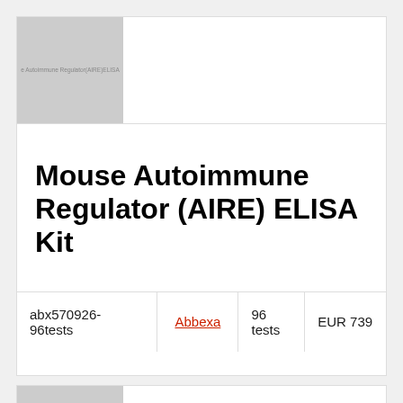[Figure (photo): Product image placeholder for Mouse Autoimmune Regulator (AIRE) ELISA Kit with grey background and text overlay]
Mouse Autoimmune Regulator (AIRE) ELISA Kit
|  |  |  |  |
| --- | --- | --- | --- |
| abx570926-96tests | Abbexa | 96 tests | EUR 739 |
|  |  |  |  |
[Figure (photo): Second product image placeholder with grey background and text overlay, with a red back-to-top button]